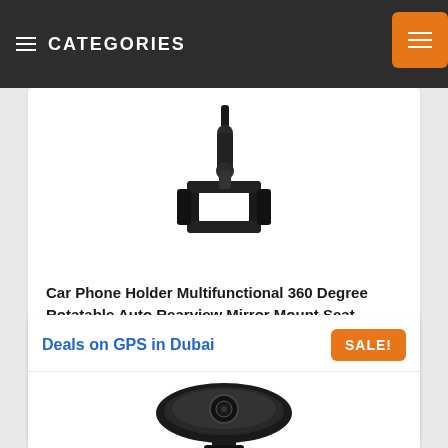CATEGORIES
[Figure (photo): Car phone holder product photo showing black adjustable mount bracket]
Car Phone Holder Multifunctional 360 Degree Rotatable Auto Rearview Mirror Mount Seat Hanging Clip Bracket Cell Phone Holder for 4.0-6.1 Inch Phone Gps Navigation Adjustable Support (black)...
AED25  AED19
Deals on GPS in Dubai
[Figure (photo): GPS device product photo showing black rounded GPS unit]